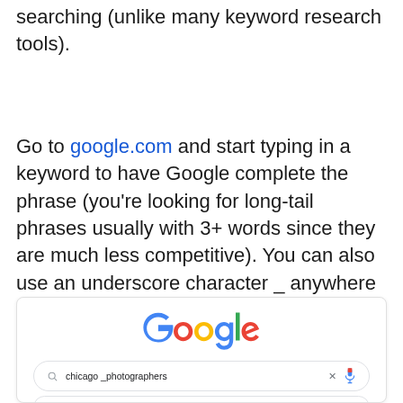searching (unlike many keyword research tools).
Go to google.com and start typing in a keyword to have Google complete the phrase (you’re looking for long-tail phrases usually with 3+ words since they are much less competitive). You can also use an underscore character _ anywhere in the phrase and Google will fill in the blank.
[Figure (screenshot): Google search autocomplete screenshot showing the Google logo and a search bar with 'chicago _photographers' typed in, with a suggestion 'chicago wedding photographers' below.]